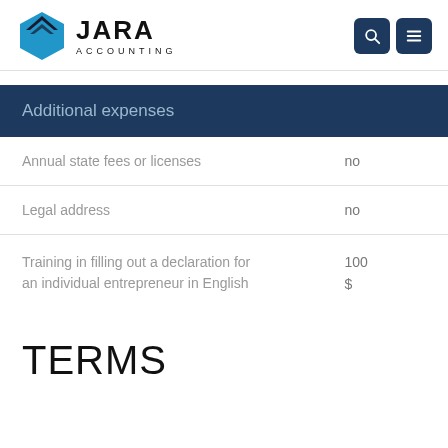[Figure (logo): Jara Accounting logo with blue hexagon icon and bold JARA text above ACCOUNTING]
Additional expenses
|  |  |
| --- | --- |
| Annual state fees or licenses | no |
| Legal address | no |
| Training in filling out a declaration for an individual entrepreneur in English | 100
$ |
TERMS